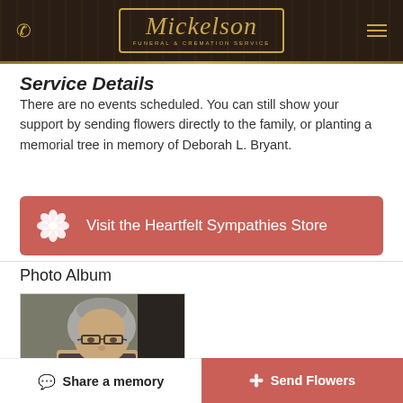Mickelson Funeral & Cremation Service
Service Details
There are no events scheduled. You can still show your support by sending flowers directly to the family, or planting a memorial tree in memory of Deborah L. Bryant.
[Figure (other): Red button: Visit the Heartfelt Sympathies Store]
Photo Album
[Figure (photo): Portrait photo of Deborah L. Bryant, an older woman with short gray hair and glasses]
Share a memory | Send Flowers